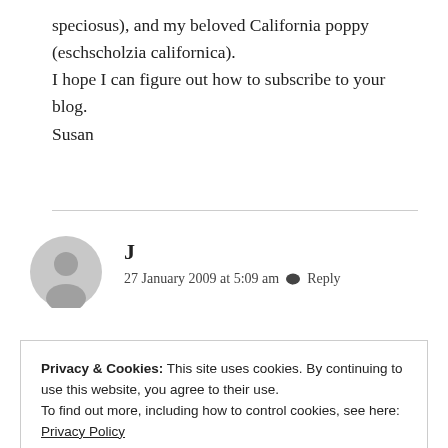speciosus), and my beloved California poppy (eschscholzia californica).
I hope I can figure out how to subscribe to your blog.
Susan
J
27 January 2009 at 5:09 am · Reply
Privacy & Cookies: This site uses cookies. By continuing to use this website, you agree to their use.
To find out more, including how to control cookies, see here: Privacy Policy
Close and accept